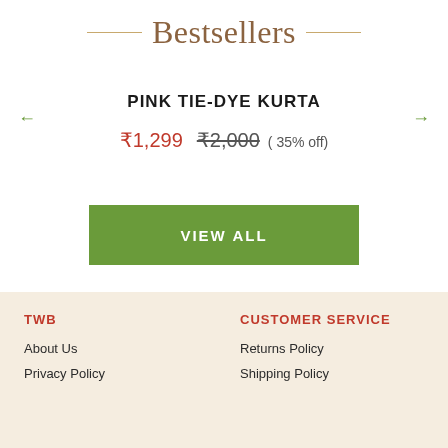Bestsellers
← →
PINK TIE-DYE KURTA
₹1,299  ₹2,000 ( 35% off)
VIEW ALL
TWB
About Us
Privacy Policy
CUSTOMER SERVICE
Returns Policy
Shipping Policy